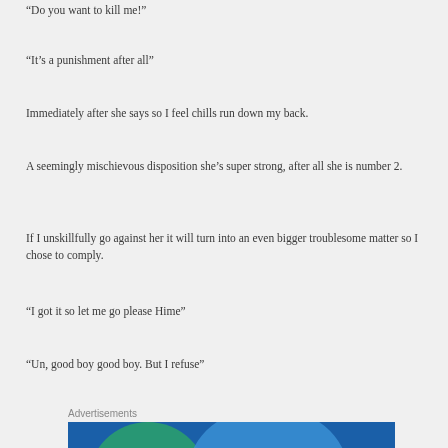“Do you want to kill me!”
“It’s a punishment after all”
Immediately after she says so I feel chills run down my back.
A seemingly mischievous disposition she’s super strong, after all she is number 2.
If I unskillfully go against her it will turn into an even bigger troublesome matter so I chose to comply.
“I got it so let me go please Hime”
“Un, good boy good boy. But I refuse”
Advertisements
[Figure (illustration): Advertisement banner with teal/green and blue circular shapes on a dark blue background]